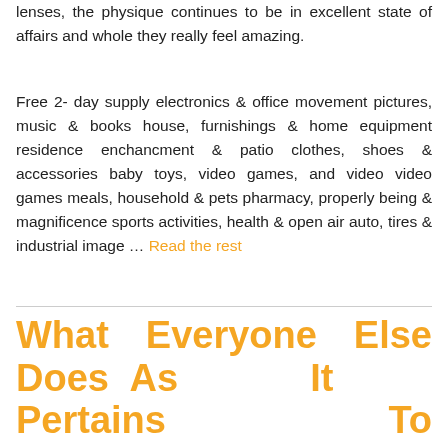lenses, the physique continues to be in excellent state of affairs and whole they really feel amazing.
Free 2- day supply electronics & office movement pictures, music & books house, furnishings & home equipment residence enchancment & patio clothes, shoes & accessories baby toys, video games, and video video games meals, household & pets pharmacy, properly being & magnificence sports activities, health & open air auto, tires & industrial image … Read the rest
What Everyone Else Does As It Pertains To Sunglasses And What You Ought To Do Different